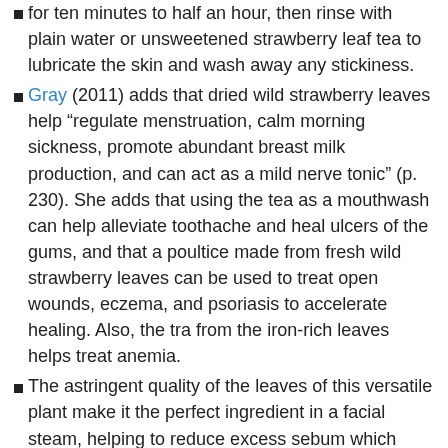for ten minutes to half an hour, then rinse with plain water or unsweetened strawberry leaf tea to lubricate the skin and wash away any stickiness.
Gray (2011) adds that dried wild strawberry leaves help “regulate menstruation, calm morning sickness, promote abundant breast milk production, and can act as a mild nerve tonic” (p. 230). She adds that using the tea as a mouthwash can help alleviate toothache and heal ulcers of the gums, and that a poultice made from fresh wild strawberry leaves can be used to treat open wounds, eczema, and psoriasis to accelerate healing. Also, the tra from the iron-rich leaves helps treat anemia.
The astringent quality of the leaves of this versatile plant make it the perfect ingredient in a facial steam, helping to reduce excess sebum which causes oily skin. They be can also help it to reduce facial...